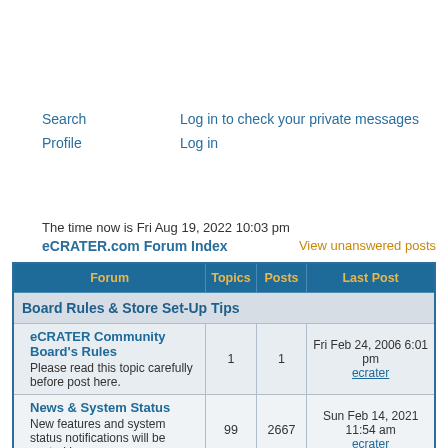Search   Log in to check your private messages
Profile   Log in
The time now is Fri Aug 19, 2022 10:03 pm
eCRATER.com Forum Index
View unanswered posts
| Forum | Topics | Posts | Last Post |
| --- | --- | --- | --- |
| Board Rules & Store Set-Up Tips |  |  |  |
| eCRATER Community Board's Rules
Please read this topic carefully before post here. | 1 | 1 | Fri Feb 24, 2006 6:01 pm
ecrater |
| News & System Status
New features and system status notifications will be posted here. | 99 | 2667 | Sun Feb 14, 2021 11:54 am
ecrater |
| Store Set Up - please read this before you ask questions
Tips which will help you during the store | 8 | 20 | Thu Jul 21, 2022 7:45 pm
SheilaDeesPostcards |